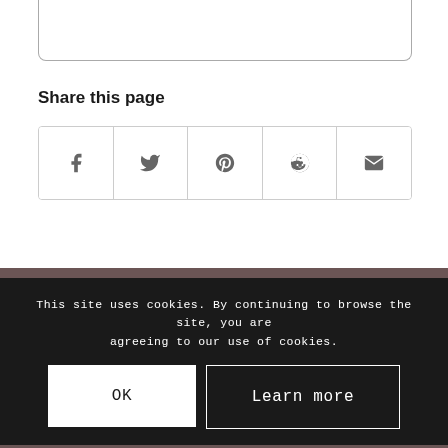[Figure (other): Partial rounded rectangle box at top of page (bottom portion visible)]
Share this page
[Figure (other): Row of 5 social share icon buttons: Facebook, Twitter, Pinterest, Reddit, Email]
This site uses cookies. By continuing to browse the site, you are agreeing to our use of cookies.
OK  Learn more